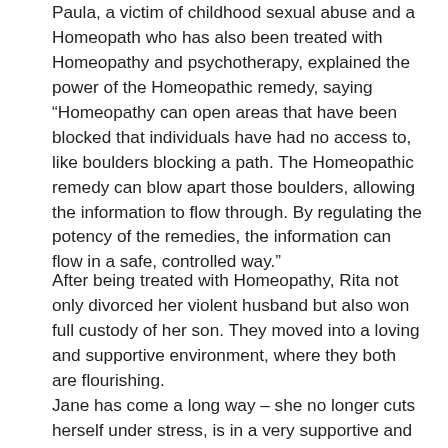Paula, a victim of childhood sexual abuse and a Homeopath who has also been treated with Homeopathy and psychotherapy, explained the power of the Homeopathic remedy, saying “Homeopathy can open areas that have been blocked that individuals have had no access to, like boulders blocking a path. The Homeopathic remedy can blow apart those boulders, allowing the information to flow through. By regulating the potency of the remedies, the information can flow in a safe, controlled way.”
After being treated with Homeopathy, Rita not only divorced her violent husband but also won full custody of her son. They moved into a loving and supportive environment, where they both are flourishing.
Jane has come a long way – she no longer cuts herself under stress, is in a very supportive and loving marriage and has a beautiful daughter (which not only motivates her to continue her healing, but also shifts her focus into loving, sharing and